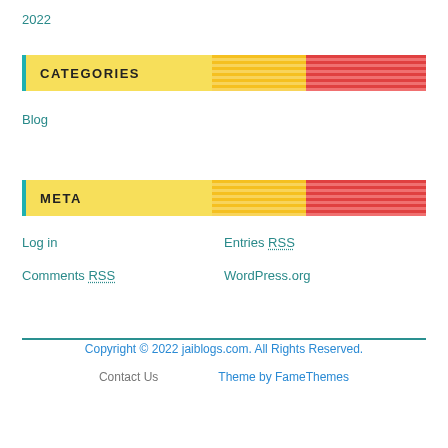2022
CATEGORIES
Blog
META
Log in
Entries RSS
Comments RSS
WordPress.org
Copyright © 2022 jaiblogs.com. All Rights Reserved.
Contact Us   Theme by FameThemes